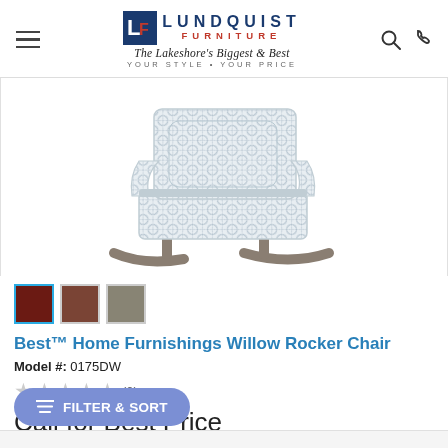Lundquist Furniture — The Lakeshore's Biggest & Best — YOUR STYLE • YOUR PRICE
[Figure (photo): Lundquist Furniture logo with blue block LF icon, dark blue LUNDQUIST text, red FURNITURE text, italic script tagline 'The Lakeshore's Biggest & Best', and sans-serif 'YOUR STYLE • YOUR PRICE']
[Figure (photo): Product photo of Best Home Furnishings Willow Rocker Chair — upholstered in light blue/gray geometric lattice fabric, with curved gray wood rocker base, shown in three-quarter front view on white background]
[Figure (other): Three color swatch squares: dark red/mahogany (active, highlighted with blue border), medium brown, and gray-taupe]
Best™ Home Furnishings Willow Rocker Chair
Model #: 0175DW
★★★★★ (0)
Call for Best Price